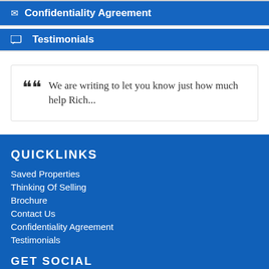Testimonials
We are writing to let you know just how much help Rich...
QUICKLINKS
Saved Properties
Thinking Of Selling
Brochure
Contact Us
Confidentiality Agreement
Testimonials
GET SOCIAL